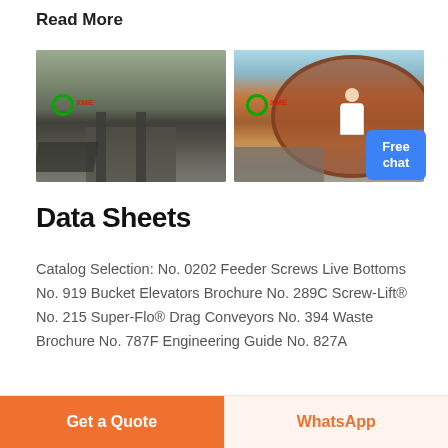Read More
[Figure (photo): Two industrial machinery photos side by side: left shows a quarry crusher/screening plant with XME branding; right shows a large ball mill drum with XME branding. A chat representative figure and 'Free chat' button overlay the right side.]
Data Sheets
Catalog Selection: No. 0202 Feeder Screws Live Bottoms No. 919 Bucket Elevators Brochure No. 289C Screw-Lift® No. 215 Super-Flo® Drag Conveyors No. 394 Waste Brochure No. 787F Engineering Guide No. 827A
Get a Quote   WhatsApp